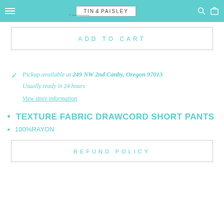TIN & PAISLEY
ADD TO CART
Pickup available at 249 NW 2nd Canby, Oregon 97013
Usually ready in 24 hours
View store information
TEXTURE FABRIC DRAWCORD SHORT PANTS
100%RAYON
REFUND POLICY